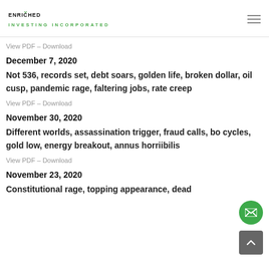ENRICHED INVESTING INCORPORATED
View PDF – Download
December 7, 2020
Not 536, records set, debt soars, golden life, broken dollar, oil cusp, pandemic rage, faltering jobs, rate creep
View PDF – Download
November 30, 2020
Different worlds, assassination trigger, fraud calls, bo cycles, gold low, energy breakout, annus horriibilis
View PDF – Download
November 23, 2020
Constitutional rage, topping appearance, dead